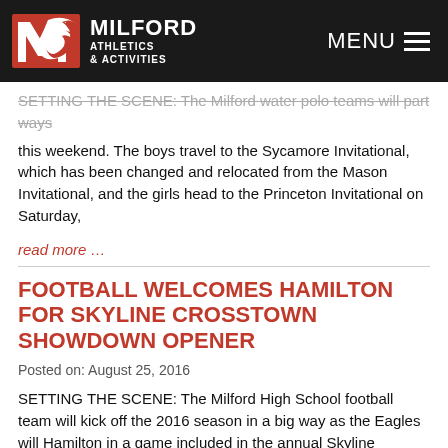Milford Athletics & Activities — MENU
SETTING THE SCENE: The Milford water polo teams will part ways this weekend. The boys travel to the Sycamore Invitational, which has been changed and relocated from the Mason Invitational, and the girls head to the Princeton Invitational on Saturday,
read more …
FOOTBALL WELCOMES HAMILTON FOR SKYLINE CROSSTOWN SHOWDOWN OPENER
Posted on: August 25, 2016
SETTING THE SCENE: The Milford High School football team will kick off the 2016 season in a big way as the Eagles will Hamilton in a game included in the annual Skyline Crosstown Showdown on Friday night (Aug. 26). Kickoff from Eagles Stadium is set for 7
read more …